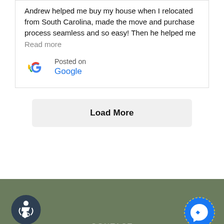Andrew helped me buy my house when I relocated from South Carolina, made the move and purchase process seamless and so easy! Then he helped me
Read more
Posted on Google
Load More
CONTACT